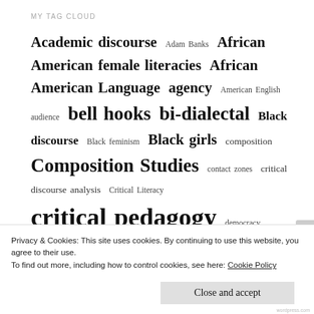MY TAG CLOUD
[Figure (infographic): Tag cloud showing academic topics with varying font sizes indicating frequency or importance. Tags include: Academic discourse, Adam Banks, African American female literacies, African American Language, agency, American English, audience, bell hooks, bi-dialectal, Black discourse, Black feminism, Black girls, composition, Composition Studies, contact zones, critical discourse analysis, Critical Literacy, critical pedagogy, democracy]
Privacy & Cookies: This site uses cookies. By continuing to use this website, you agree to their use.
To find out more, including how to control cookies, see here: Cookie Policy
Close and accept